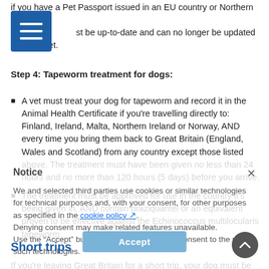if you have a Pet Passport issued in an EU country or Northern Ireland, but must be up-to-date and can no longer be updated by a UK vet.
Step 4: Tapeworm treatment for dogs:
A vet must treat your dog for tapeworm and record it in the Animal Health Certificate if you're travelling directly to: Finland, Ireland, Malta, Northern Ireland or Norway, AND every time you bring them back to Great Britain (England, Wales and Scotland) from any country except those listed above. The treatment must have been given no less than 24 hours and no more than 120 hours (5 days) before you arrive.
The treatment must be approved for use in the country it's being given in, AND contain praziquantel or an equivalent proven to be effective against the Echinococcus multilocularis tapeworm.
Short trips
If you're leaving Great Britain for a short trip, your dog must be treated by a vet before you go. You must wait for 24 hours before re-entering Great Britain and return within 120 hours or you'll need to get another treatment abroad.
You should treat your dog again within 28 days of returning to Great